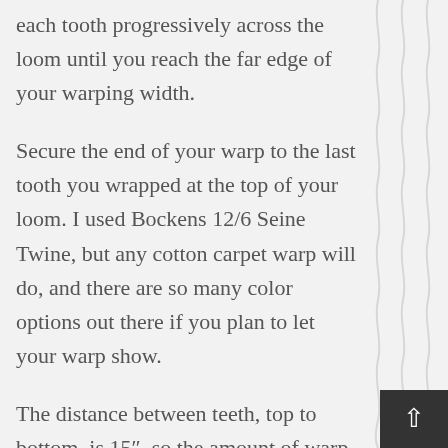each tooth progressively across the loom until you reach the far edge of your warping width.
Secure the end of your warp to the last tooth you wrapped at the top of your loom. I used Bockens 12/6 Seine Twine, but any cotton carpet warp will do, and there are so many color options out there if you plan to let your warp show.
The distance between teeth, top to bottom, is 15″, so the amount of warp you need varies depending on how wide you decide to warp your project. I warped my loom the full width, which is